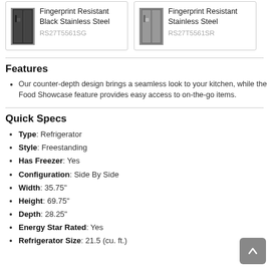[Figure (other): Product card: Fingerprint Resistant Black Stainless Steel refrigerator image, model RS27T5561SG]
[Figure (other): Product card: Fingerprint Resistant Stainless Steel refrigerator image, model RS27T5561SR]
Features
Our counter-depth design brings a seamless look to your kitchen, while the Food Showcase feature provides easy access to on-the-go items.
Quick Specs
Type: Refrigerator
Style: Freestanding
Has Freezer: Yes
Configuration: Side By Side
Width: 35.75"
Height: 69.75"
Depth: 28.25"
Energy Star Rated: Yes
Refrigerator Size: 21.5 (cu. ft.)